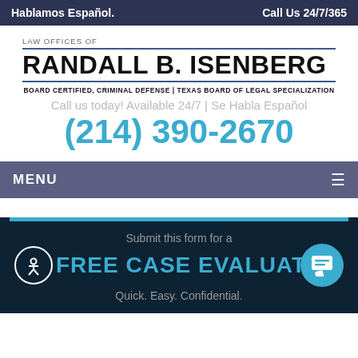Hablamos Español.    Call Us 24/7/365
LAW OFFICES OF
RANDALL B. ISENBERG
BOARD CERTIFIED, CRIMINAL DEFENSE  |  TEXAS BOARD OF LEGAL SPECIALIZATION
Call us today! Available 24/7 | Se Habla Español
(214) 390-2670
MENU
Submit this form for a
FREE CASE EVALUATION
Quick. Easy. Confidential.